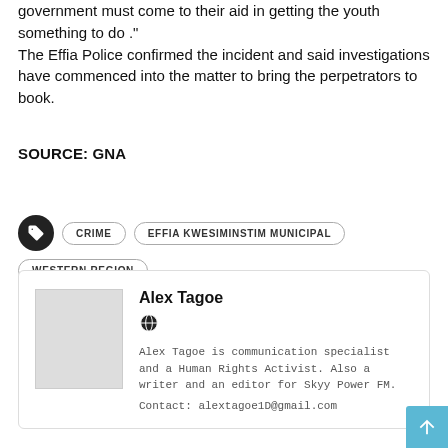government must come to their aid in getting the youth something to do ." The Effia Police confirmed the incident and said investigations have commenced into the matter to bring the perpetrators to book.
SOURCE: GNA
CRIME
EFFIA KWESIMINSTIM MUNICIPAL
WESTERN REGION
Alex Tagoe
Alex Tagoe is communication specialist and a Human Rights Activist. Also a writer and an editor for Skyy Power FM.
Contact: alextagoe1D@gmail.com